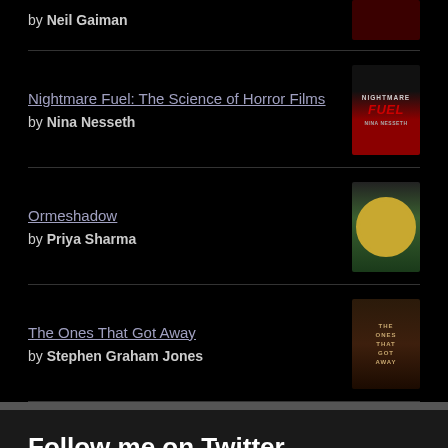by Neil Gaiman
Nightmare Fuel: The Science of Horror Films by Nina Nesseth
Ormeshadow by Priya Sharma
The Ones That Got Away by Stephen Graham Jones
Follow me on Twitter
Tweets from @jjosh_h  Follow